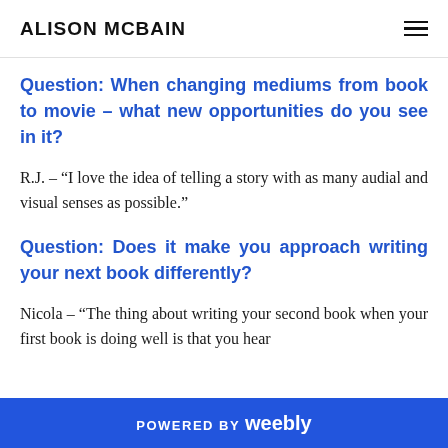ALISON MCBAIN
Question: When changing mediums from book to movie – what new opportunities do you see in it?
R.J. – “I love the idea of telling a story with as many audial and visual senses as possible.”
Question: Does it make you approach writing your next book differently?
Nicola – “The thing about writing your second book when your first book is doing well is that you hear
POWERED BY weebly